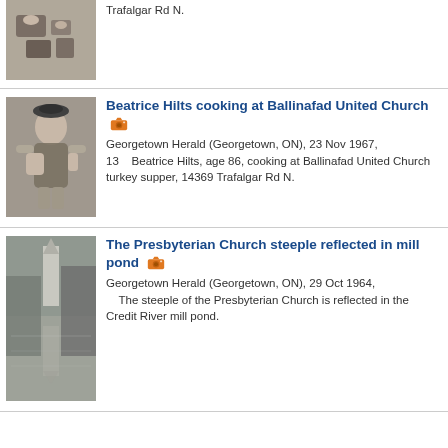[Figure (photo): Black and white photo of dishes/tea set on a table]
Trafalgar Rd N.
[Figure (photo): Black and white photo of Beatrice Hilts cooking, an elderly woman]
Beatrice Hilts cooking at Ballinafad United Church
Georgetown Herald (Georgetown, ON), 23 Nov 1967, 13    Beatrice Hilts, age 86, cooking at Ballinafad United Church turkey supper, 14369 Trafalgar Rd N.
[Figure (photo): Black and white photo of the Presbyterian Church steeple reflected in the Credit River mill pond]
The Presbyterian Church steeple reflected in mill pond
Georgetown Herald (Georgetown, ON), 29 Oct 1964, The steeple of the Presbyterian Church is reflected in the Credit River mill pond.